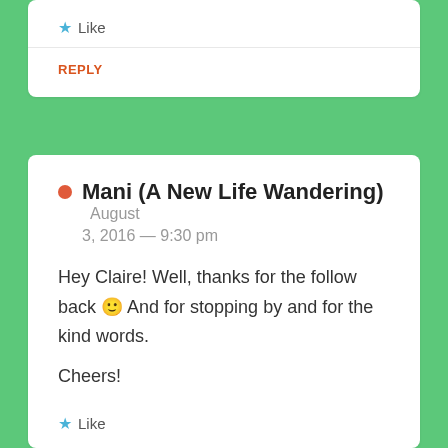Like
REPLY
Mani (A New Life Wandering) August 3, 2016 — 9:30 pm
Hey Claire! Well, thanks for the follow back 🙂 And for stopping by and for the kind words.
Cheers!
Like